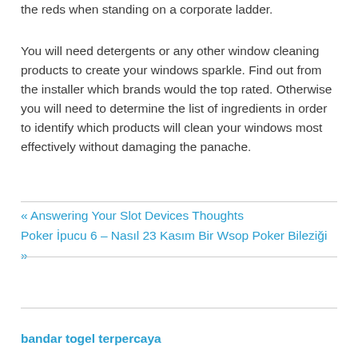the reds when standing on a corporate ladder.
You will need detergents or any other window cleaning products to create your windows sparkle. Find out from the installer which brands would the top rated. Otherwise you will need to determine the list of ingredients in order to identify which products will clean your windows most effectively without damaging the panache.
« Answering Your Slot Devices Thoughts
Poker İpucu 6 – Nasıl 23 Kasım Bir Wsop Poker Bileziği »
bandar togel terpercaya